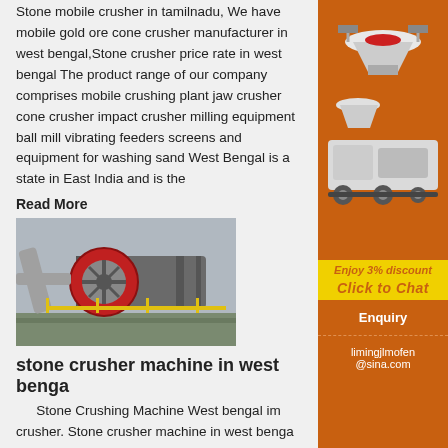Stone mobile crusher in tamilnadu, We have mobile gold ore cone crusher manufacturer in west bengal,Stone crusher price rate in west bengal The product range of our company comprises mobile crushing plant jaw crusher cone crusher impact crusher milling equipment ball mill vibrating feeders screens and equipment for washing sand West Bengal is a state in East India and is the
Read More
[Figure (photo): Industrial ball mill / grinding machine at a processing plant]
[Figure (photo): Sidebar advertisement showing crushing and milling equipment on orange background with 'Enjoy 3% discount Click to Chat' yellow label]
stone crusher machine in west bengal
Stone Crushing Machine West bengal impact crusher. Stone crusher machine in west bengal crusher machine in west bengal our purpose and lampm heavy industry is committed to provide the global customers with the firstclass products and superior
Enquiry
limingjlmofen@sina.com